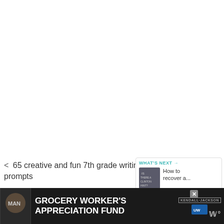[Figure (other): White blank area — top portion of a webpage screenshot]
[Figure (other): Heart/like button (teal circle with white heart icon), like count 12, and share button (white circle with share icon)]
< 65 creative and fun 7th grade writing prompts
[Figure (other): WHAT'S NEXT → callout box with thumbnail image and text: How to recover a...]
> Things to know about Triller App
[Figure (other): Ad banner: GROCERY WORKER'S APPRECIATION FUND with Kendall-Jackson and United Way logos, close button, and W° button]